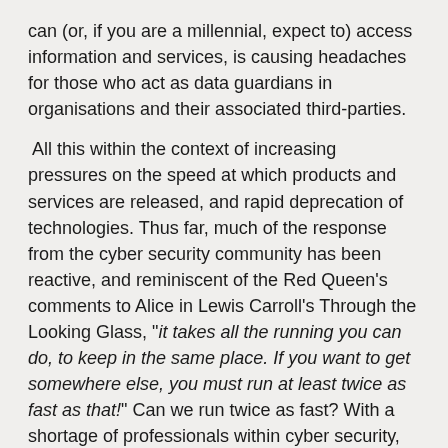can (or, if you are a millennial, expect to) access information and services, is causing headaches for those who act as data guardians in organisations and their associated third-parties.
All this within the context of increasing pressures on the speed at which products and services are released, and rapid deprecation of technologies. Thus far, much of the response from the cyber security community has been reactive, and reminiscent of the Red Queen's comments to Alice in Lewis Carroll's Through the Looking Glass, "it takes all the running you can do, to keep in the same place. If you want to get somewhere else, you must run at least twice as fast as that!" Can we run twice as fast? With a shortage of professionals within cyber security, we are unlikely to fulfil that requirement, at least in the short term. Another option would be to fundamentally change the process, or Alice and the Red Queen's chess game.
One of the fastest moving areas in security is application development. Product development cycles are now counted in days, instead of months. And speed must be